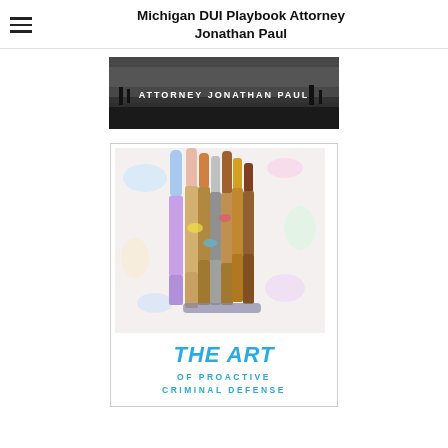Michigan DUI Playbook Attorney Jonathan Paul
[Figure (photo): Black and white photo of landscape/scenery with text overlay 'ATTORNEY JONATHAN PAUL']
[Figure (photo): Book cover showing colorful paint brushes with text 'THE ART OF PROACTIVE CRIMINAL DEFENSE']